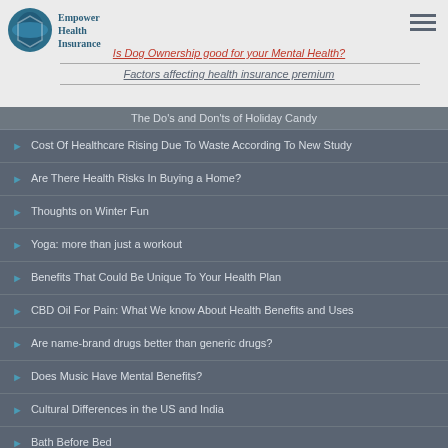Empower Health Insurance
Is Dog Ownership good for your Mental Health?
Factors affecting health insurance premium
The Do's and Don'ts of Holiday Candy
Cost Of Healthcare Rising Due To Waste According To New Study
Are There Health Risks In Buying a Home?
Thoughts on Winter Fun
Yoga: more than just a workout
Benefits That Could Be Unique To Your Health Plan
CBD Oil For Pain: What We know About Health Benefits and Uses
Are name-brand drugs better than generic drugs?
Does Music Have Mental Benefits?
Cultural Differences in the US and India
Bath Before Bed
Rate Increase For 2019
Paying Medical Bills
Importance of Relaxation
Is ADHD On the Rise?
Benefits of Superfoods : Here's an easy list of what to get
Should You Practice Diaphragmatic Breathing?